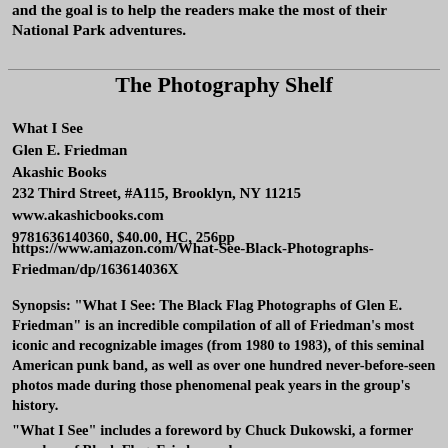and the goal is to help the readers make the most of their National Park adventures.
The Photography Shelf
What I See
Glen E. Friedman
Akashic Books
232 Third Street, #A115, Brooklyn, NY 11215
www.akashicbooks.com
9781636140360, $40.00, HC, 256pp
https://www.amazon.com/What-See-Black-Photographs-Friedman/dp/163614036X
Synopsis: "What I See: The Black Flag Photographs of Glen E. Friedman" is an incredible compilation of all of Friedman's most iconic and recognizable images (from 1980 to 1983), of this seminal American punk band, as well as over one hundred never-before-seen photos made during those phenomenal peak years in the group's history.
"What I See" includes a foreword by Chuck Dukowski, a former member of Black Flag. Friedman also